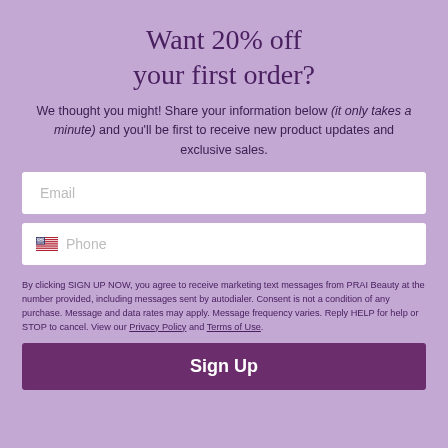Want 20% off your first order?
We thought you might! Share your information below (it only takes a minute) and you'll be first to receive new product updates and exclusive sales.
Email
Phone
By clicking SIGN UP NOW, you agree to receive marketing text messages from PRAI Beauty at the number provided, including messages sent by autodialer. Consent is not a condition of any purchase. Message and data rates may apply. Message frequency varies. Reply HELP for help or STOP to cancel. View our Privacy Policy and Terms of Use.
Sign Up